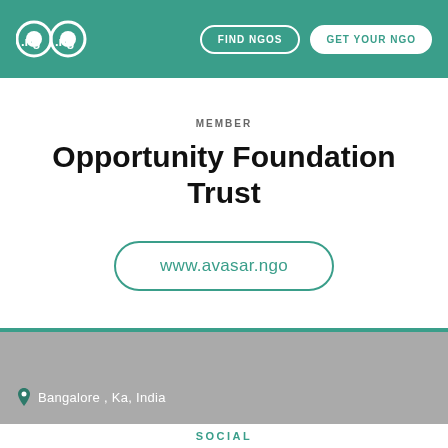FIND NGOS | GET YOUR NGO
MEMBER
Opportunity Foundation Trust
www.avasar.ngo
Bangalore , Ka, India
SOCIAL